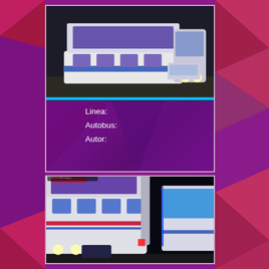[Figure (photo): Double-decker bus at night, white and blue with purple accents, parked at a bus terminal. A car is visible in the background.]
Linea:
Autobus:
Autor:
[Figure (photo): Double-decker buses at night at a bus terminal, white body with blue and red stripes, with illuminated windows and headlights on.]